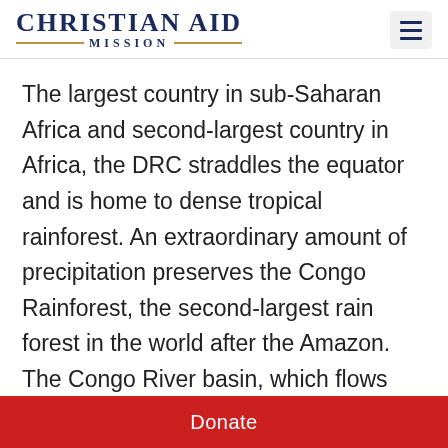Christian Aid Mission
The largest country in sub-Saharan Africa and second-largest country in Africa, the DRC straddles the equator and is home to dense tropical rainforest. An extraordinary amount of precipitation preserves the Congo Rainforest, the second-largest rain forest in the world after the Amazon. The Congo River basin, which flows through the entire country, is the deepest river in the world. The river and its tributaries underlie the country's economics and transportation.
Donate